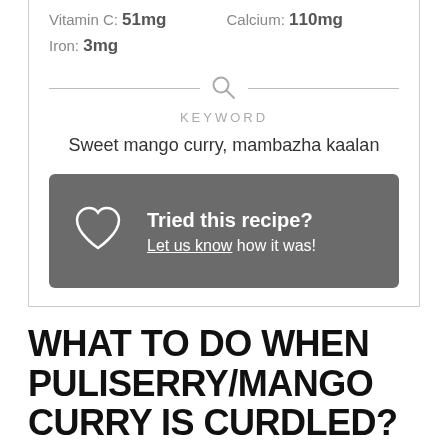Vitamin C: 51mg    Calcium: 110mg
Iron: 3mg
KEYWORD
Sweet mango curry, mambazha kaalan
Tried this recipe? Let us know how it was!
WHAT TO DO WHEN PULISERRY/MANGO CURRY IS CURDLED?